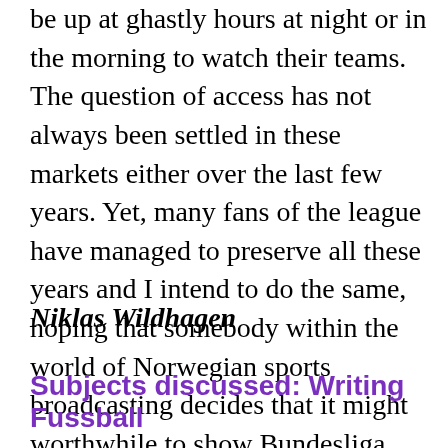be up at ghastly hours at night or in the morning to watch their teams. The question of access has not always been settled in these markets either over the last few years. Yet, many fans of the league have managed to preserve all these years and I intend to do the same, hoping that somebody within the world of Norwegian sports broadcasting decides that it might worthwhile to show Bundesliga matches on the telly once again.
Niklas Wildhagen
Subjects discussed: Writing Fussball